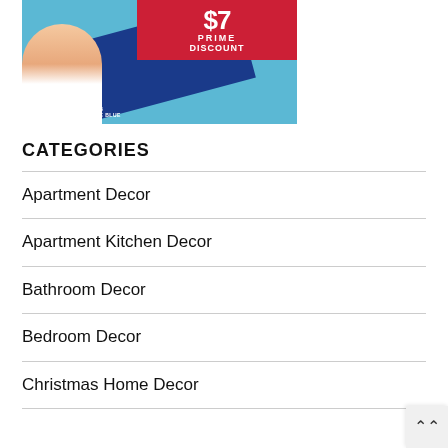[Figure (photo): Advertisement banner showing a woman holding a blue heating pad with text '$7 PRIME DISCOUNT' on a red banner, cyan/blue background, with a white controller device]
CATEGORIES
Apartment Decor
Apartment Kitchen Decor
Bathroom Decor
Bedroom Decor
Christmas Home Decor